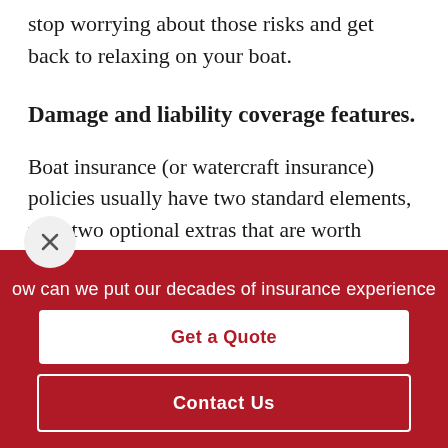stop worrying about those risks and get back to relaxing on your boat.
Damage and liability coverage features.
Boat insurance (or watercraft insurance) policies usually have two standard elements, with two optional extras that are worth considering. One standard feature is insurance coverage for physical
ow can we put our decades of insurance experience
Get a Quote
Contact Us